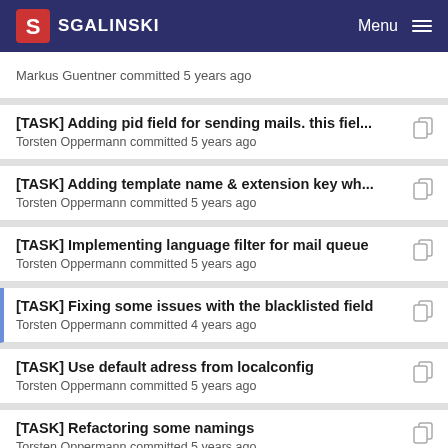SGALINSKI Menu
Markus Guentner committed 5 years ago
[TASK] Adding pid field for sending mails. this fiel... — Torsten Oppermann committed 5 years ago
[TASK] Adding template name & extension key wh... — Torsten Oppermann committed 5 years ago
[TASK] Implementing language filter for mail queue — Torsten Oppermann committed 5 years ago
[TASK] Fixing some issues with the blacklisted field — Torsten Oppermann committed 4 years ago
[TASK] Use default adress from localconfig — Torsten Oppermann committed 5 years ago
[TASK] Refactoring some namings — Torsten Oppermann committed 5 years ago
[TASK] Adding pagination to queue. Fixing some e... — Torsten Oppermann committed 5 years ago